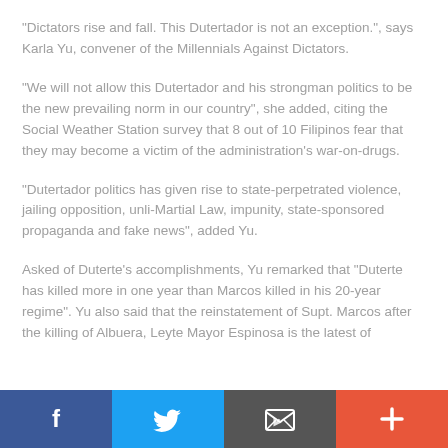“Dictators rise and fall. This Dutertador is not an exception.”, says Karla Yu, convener of the Millennials Against Dictators.
“We will not allow this Dutertador and his strongman politics to be the new prevailing norm in our country”, she added, citing the Social Weather Station survey that 8 out of 10 Filipinos fear that they may become a victim of the administration’s war-on-drugs.
“Dutertador politics has given rise to state-perpetrated violence, jailing opposition, unli-Martial Law, impunity, state-sponsored propaganda and fake news”, added Yu.
Asked of Duterte’s accomplishments, Yu remarked that “Duterte has killed more in one year than Marcos killed in his 20-year regime”. Yu also said that the reinstatement of Supt. Marcos after the killing of Albuera, Leyte Mayor Espinosa is the latest of
[Figure (other): Social media share/action bar with four buttons: Facebook (blue), Twitter (light blue), Email (dark grey), and Add/Plus (orange-red)]